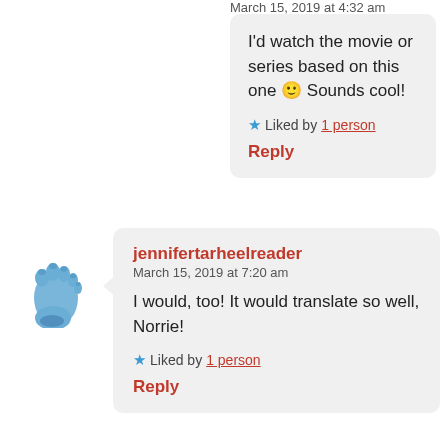March 15, 2019 at 4:32 am
I'd watch the movie or series based on this one 🙂 Sounds cool!
Liked by 1 person
Reply
[Figure (illustration): Blue footprint avatar icon]
jennifertarheelreader
March 15, 2019 at 7:20 am
I would, too! It would translate so well, Norrie!
Liked by 1 person
Reply